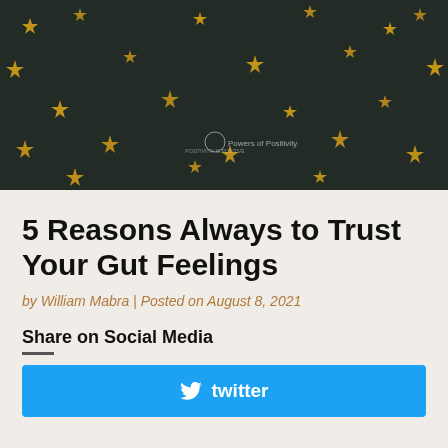[Figure (photo): Dark background with scattered gold/yellow star shapes, resembling a night sky or decorative fabric. A small watermark logo is visible at center bottom.]
5 Reasons Always to Trust Your Gut Feelings
by William Mabra | Posted on August 8, 2021
Share on Social Media
twitter